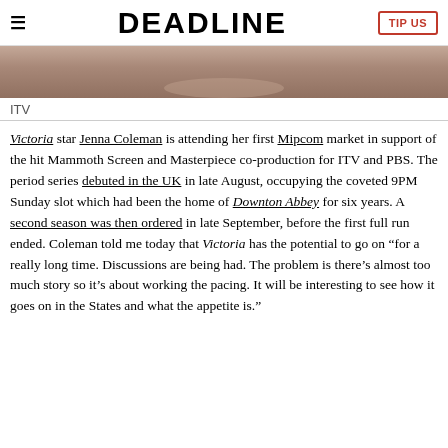DEADLINE
[Figure (photo): Partial view of a person wearing a pearl necklace, warm-toned background]
ITV
Victoria star Jenna Coleman is attending her first Mipcom market in support of the hit Mammoth Screen and Masterpiece co-production for ITV and PBS. The period series debuted in the UK in late August, occupying the coveted 9PM Sunday slot which had been the home of Downton Abbey for six years. A second season was then ordered in late September, before the first full run ended. Coleman told me today that Victoria has the potential to go on “for a really long time. Discussions are being had. The problem is there’s almost too much story so it’s about working the pacing. It will be interesting to see how it goes on in the States and what the appetite is.”